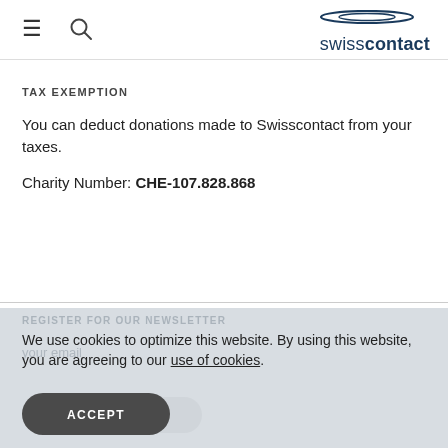swisscontact
TAX EXEMPTION
You can deduct donations made to Swisscontact from your taxes.
Charity Number: CHE-107.828.868
REGISTER FOR OUR NEWSLETTER
We use cookies to optimize this website. By using this website, you are agreeing to our use of cookies.
ACCEPT